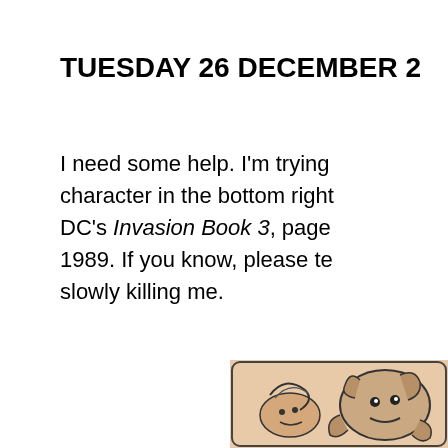TUESDAY 26 DECEMBER 2
I need some help. I'm trying character in the bottom right DC's Invasion Book 3, page 1989. If you know, please te slowly killing me.
[Figure (illustration): Partial comic book illustration showing characters in a scene, visible in the bottom-right corner of the page]